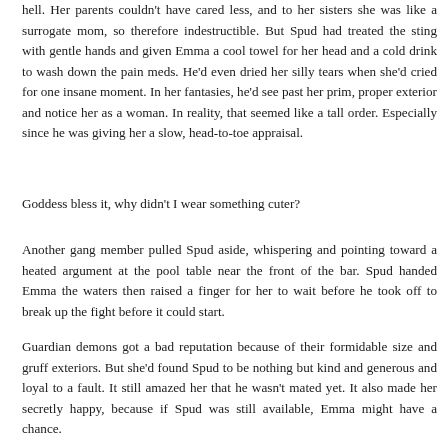hell. Her parents couldn't have cared less, and to her sisters she was like a surrogate mom, so therefore indestructible. But Spud had treated the sting with gentle hands and given Emma a cool towel for her head and a cold drink to wash down the pain meds. He'd even dried her silly tears when she'd cried for one insane moment. In her fantasies, he'd see past her prim, proper exterior and notice her as a woman. In reality, that seemed like a tall order. Especially since he was giving her a slow, head-to-toe appraisal.
Goddess bless it, why didn't I wear something cuter?
Another gang member pulled Spud aside, whispering and pointing toward a heated argument at the pool table near the front of the bar. Spud handed Emma the waters then raised a finger for her to wait before he took off to break up the fight before it could start.
Guardian demons got a bad reputation because of their formidable size and gruff exteriors. But she'd found Spud to be nothing but kind and generous and loyal to a fault. It still amazed her that he wasn't mated yet. It also made her secretly happy, because if Spud was still available, Emma might have a chance.